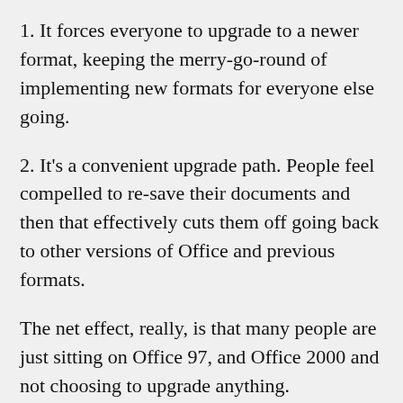1. It forces everyone to upgrade to a newer format, keeping the merry-go-round of implementing new formats for everyone else going.
2. It's a convenient upgrade path. People feel compelled to re-save their documents and then that effectively cuts them off going back to other versions of Office and previous formats.
The net effect, really, is that many people are just sitting on Office 97, and Office 2000 and not choosing to upgrade anything. Interestingly, a lot